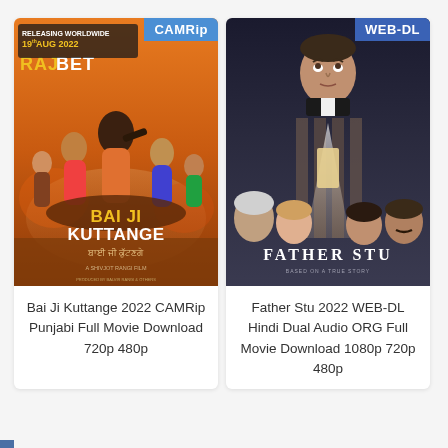[Figure (illustration): Movie poster for Bai Ji Kuttange 2022 Punjabi film. Shows ensemble cast with a man holding a gun in center. Text: RELEASING WORLDWIDE 19th AUG 2022, RAJBET, CAMRip badge top-right, BAI JI KUTTANGE title at bottom.]
Bai Ji Kuttange 2022 CAMRip Punjabi Full Movie Download 720p 480p
[Figure (illustration): Movie poster for Father Stu 2022. Shows a man in priest collar looking up, with supporting cast below. WEB-DL badge top-right. FATHER STU title at bottom in serif font.]
Father Stu 2022 WEB-DL Hindi Dual Audio ORG Full Movie Download 1080p 720p 480p